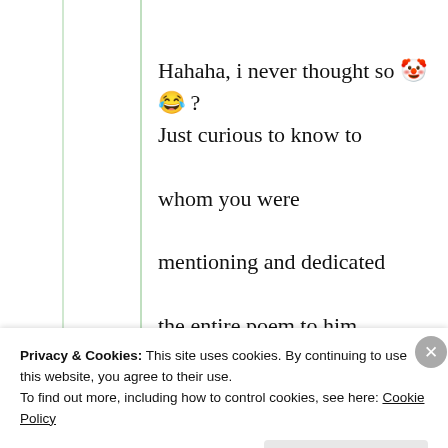Hahaha, i never thought so 🤡😂 ?
Just curious to know to whom you were mentioning and dedicated the entire poem to him 🤔🔍😀
★ Liked by 1 person
Privacy & Cookies: This site uses cookies. By continuing to use this website, you agree to their use.
To find out more, including how to control cookies, see here: Cookie Policy